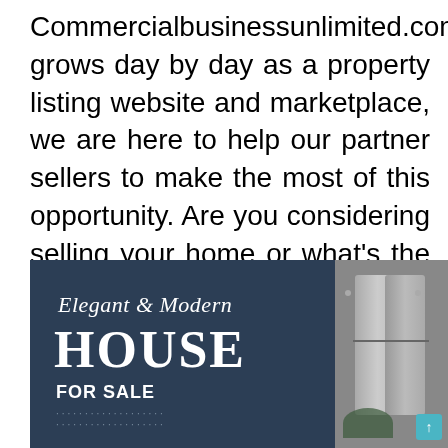Commercialbusinessunlimited.com grows day by day as a property listing website and marketplace, we are here to help our partner sellers to make the most of this opportunity. Are you considering selling your home or what's the best website to rent homes?
[Figure (photo): Two side-by-side images: left image is a dark navy marketing graphic with cursive text 'Elegant & Modern', bold large text 'HOUSE', bold text 'FOR SALE' and dotted lines below on dark blue background. Right image shows a partial view of stainless steel appliances (refrigerator) with a small plant and a teal scroll-to-top button.]